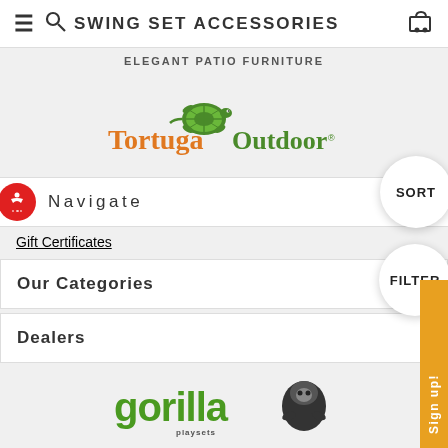SWING SET ACCESSORIES
ELEGANT PATIO FURNITURE
[Figure (logo): Tortuga Outdoor logo with green turtle and orange/green text]
Navigate
Gift Certificates
Our Categories
Dealers
[Figure (logo): Gorilla Playsets logo with gorilla mascot]